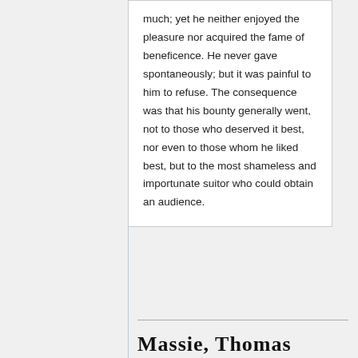much; yet he neither enjoyed the pleasure nor acquired the fame of beneficence. He never gave spontaneously; but it was painful to him to refuse. The consequence was that his bounty generally went, not to those who deserved it best, nor even to those whom he liked best, but to the most shameless and importunate suitor who could obtain an audience.
Massie, Thomas